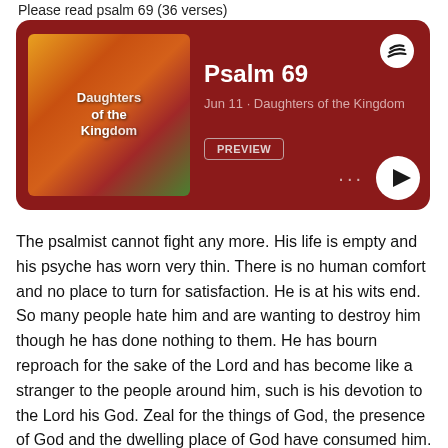Please read psalm 69 (36 verses)
[Figure (screenshot): Spotify podcast card with dark red background showing 'Psalm 69' episode by Daughters of the Kingdom, dated Jun 11, with album art, Spotify logo, PREVIEW button, and play button.]
The psalmist cannot fight any more. His life is empty and his psyche has worn very thin. There is no human comfort and no place to turn for satisfaction. He is at his wits end. So many people hate him and are wanting to destroy him though he has done nothing to them. He has bourn reproach for the sake of the Lord and has become like a stranger to the people around him, such is his devotion to the Lord his God. Zeal for the things of God, the presence of God and the dwelling place of God have consumed him. Those who hate the Lord also hate